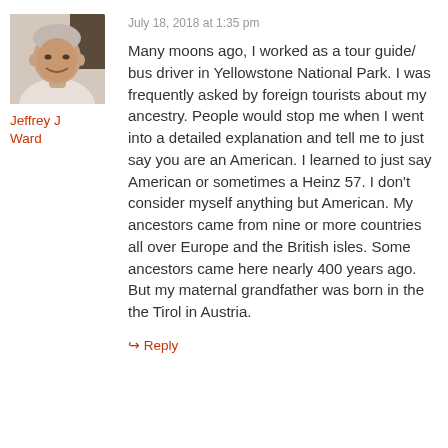[Figure (photo): Profile photo of a middle-aged man smiling, wearing a light-colored shirt, photographed indoors]
Jeffrey J Ward
July 18, 2018 at 1:35 pm
Many moons ago, I worked as a tour guide/ bus driver in Yellowstone National Park. I was frequently asked by foreign tourists about my ancestry. People would stop me when I went into a detailed explanation and tell me to just say you are an American. I learned to just say American or sometimes a Heinz 57. I don't consider myself anything but American. My ancestors came from nine or more countries all over Europe and the British isles. Some ancestors came here nearly 400 years ago. But my maternal grandfather was born in the the Tirol in Austria.
↳ Reply